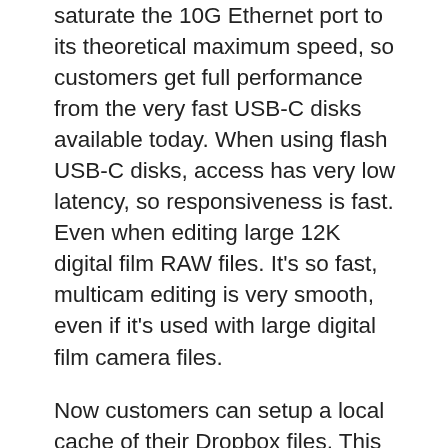saturate the 10G Ethernet port to its theoretical maximum speed, so customers get full performance from the very fast USB-C disks available today. When using flash USB-C disks, access has very low latency, so responsiveness is fast. Even when editing large 12K digital film RAW files. It's so fast, multicam editing is very smooth, even if it's used with large digital film camera files.
Now customers can setup a local cache of their Dropbox files. This makes working much faster because files are instantly available without needing to be downloaded from the internet. Customers can save space on their computer by moving cached Dropbox files to the Blackmagic Cloud Pod so everyone on their network can share them. Customers can even sync multiple Blackmagic Cloud Pods or Cloud Stores via Dropbox so people in different